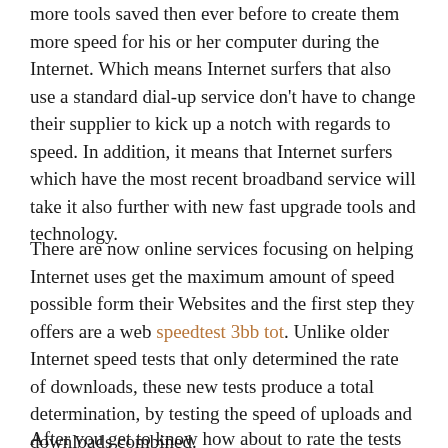more tools saved then ever before to create them more speed for his or her computer during the Internet. Which means Internet surfers that also use a standard dial-up service don't have to change their supplier to kick up a notch with regards to speed. In addition, it means that Internet surfers which have the most recent broadband service will take it also further with new fast upgrade tools and technology.
There are now online services focusing on helping Internet uses get the maximum amount of speed possible form their Websites and the first step they offers are a web speedtest 3bb tot. Unlike older Internet speed tests that only determined the rate of downloads, these new tests produce a total determination, by testing the speed of uploads and downloads combined.
After you get to know how about to rate the tests will...